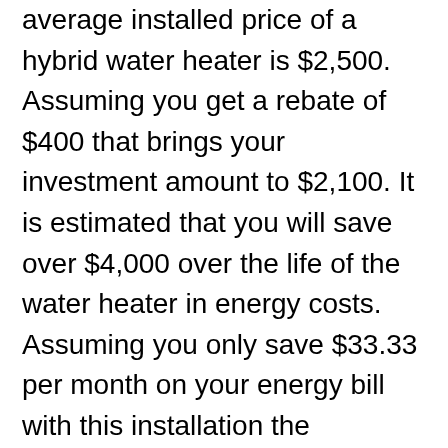average installed price of a hybrid water heater is $2,500. Assuming you get a rebate of $400 that brings your investment amount to $2,100. It is estimated that you will save over $4,000 over the life of the water heater in energy costs. Assuming you only save $33.33 per month on your energy bill with this installation the investment will have paid for itself in a little over 5 years. This means that you could be getting more hot water, saving on your energy bill, adding a cooling source to your garage, have your investment pay for itself in 5 years all with a 10 year manufacturer warranty!
We have multiple financing options ranging from 18 months no interest, to minimum monthly